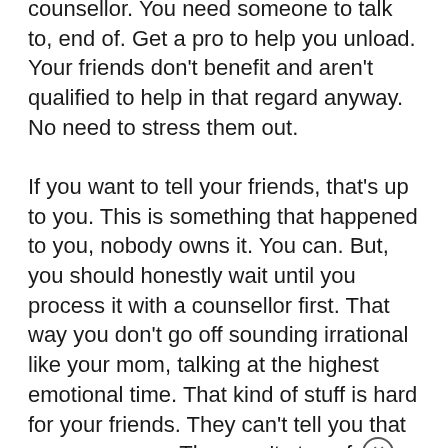counsellor. You need someone to talk to, end of. Get a pro to help you unload. Your friends don't benefit and aren't qualified to help in that regard anyway. No need to stress them out.
If you want to tell your friends, that's up to you. This is something that happened to you, nobody owns it. You can. But, you should honestly wait until you process it with a counsellor first. That way you don't go off sounding irrational like your mom, talking at the highest emotional time. That kind of stuff is hard for your friends. They can't tell you that you are wrong. They can't stop of you from doing things that will be bad for you...